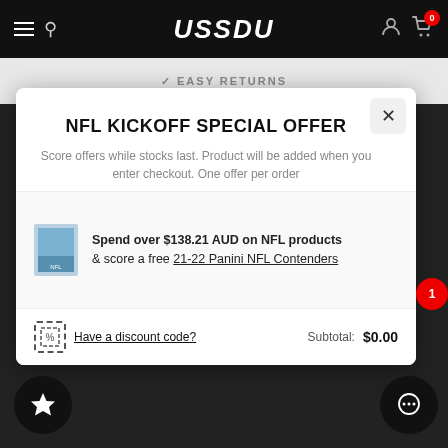USSDU
EASY RETURNS
NFL KICKOFF SPECIAL OFFER
Score offers while stocks last. Product will be added when you enter checkout. One offer per order
Spend over $138.21 AUD on NFL products & score a free 21-22 Panini NFL Contenders
Have a discount code?
Subtotal: $0.00